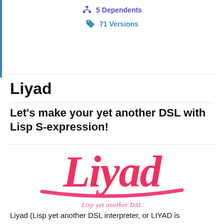5 Dependents
71 Versions
Liyad
Let's make your yet another DSL with Lisp S-expression!
[Figure (logo): Liyad logo in bold red/pink script lettering with a pink swoosh underline and caption 'Lisp yet another DSL']
Liyad (Lisp yet another DSL interpreter, or LIYAD is